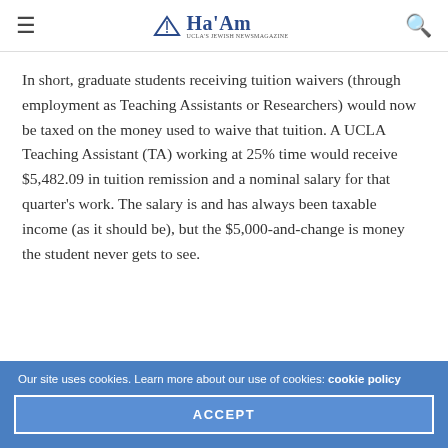≡  Ha'Am  🔍
In short, graduate students receiving tuition waivers (through employment as Teaching Assistants or Researchers) would now be taxed on the money used to waive that tuition. A UCLA Teaching Assistant (TA) working at 25% time would receive $5,482.09 in tuition remission and a nominal salary for that quarter's work. The salary is and has always been taxable income (as it should be), but the $5,000-and-change is money the student never gets to see.
Our site uses cookies. Learn more about our use of cookies: cookie policy
ACCEPT